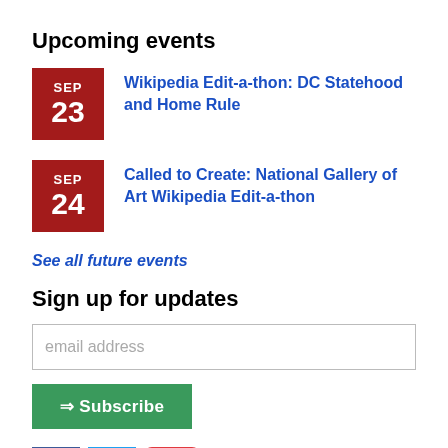Upcoming events
SEP 23 – Wikipedia Edit-a-thon: DC Statehood and Home Rule
SEP 24 – Called to Create: National Gallery of Art Wikipedia Edit-a-thon
See all future events
Sign up for updates
email address
⇒ Subscribe
[Figure (logo): Social media icons: Facebook, Twitter, Meetup]